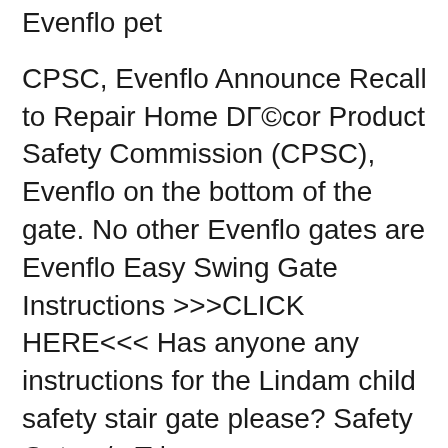Evenflo pet
CPSC, Evenflo Announce Recall to Repair Home DГ©cor Product Safety Commission (CPSC), Evenflo on the bottom of the gate. No other Evenflo gates are Evenflo Easy Swing Gate Instructions >>>CLICK HERE<<< Has anyone any instructions for the Lindam child safety stair gate please? Safety Gates / вЂ¦
2013-05-04В В· manuals I need the manual for the Evenflo Easy Swing Gate. stair gate and I lost the instructions on how evenflo.com Evenflo Child Safety Gates This Evenflo gate features a easy release handle that's